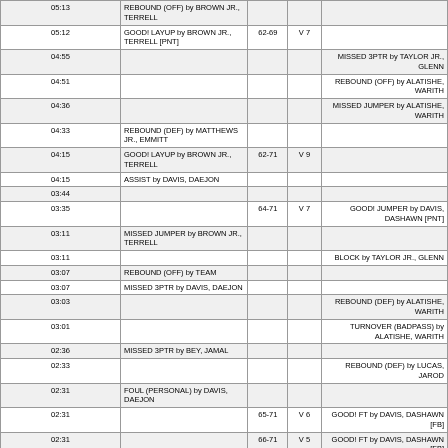| TIME | HOME | SCORE | MARGIN | VISITOR |
| --- | --- | --- | --- | --- |
| 05:13 | REBOUND (OFF) by BROWN JR., TERRELL |  |  |  |
| 05:12 | GOOD! LAYUP by BROWN JR., TERRELL [PNT] | 62-69 | V 7 |  |
| 04:55 |  |  |  | MISSED 3PTR by TAYLOR JR., GLENN |
| 04:51 |  |  |  | REBOUND (OFF) by ALATISHE, WARITH |
| 04:36 |  |  |  | MISSED JUMPER by ALATISHE, WARITH |
| 04:33 | REBOUND (DEF) by MATTHEWS JR., EMMITT |  |  |  |
| 04:15 | GOOD! LAYUP by BROWN JR., TERRELL | 62-71 | V 9 |  |
| 04:15 | ASSIST by DAVIS, DAEJON |  |  |  |
| 03:44 |  |  |  |  |
| 03:35 |  | 64-71 | V 7 | GOOD! JUMPER by DAVIS, DASHAWN [PNT] |
| 03:11 | MISSED JUMPER by BROWN JR., TERRELL |  |  |  |
| 03:11 |  |  |  | BLOCK by TAYLOR JR., GLENN |
| 03:07 | REBOUND (OFF) by TEAM |  |  |  |
| 03:07 | MISSED 3PTR by DAVIS, DAEJON |  |  |  |
| 03:03 |  |  |  | REBOUND (DEF) by ALATISHE, WARITH |
| 03:01 |  |  |  | TURNOVER (BADPASS) by ALATISHE, WARITH |
| 02:36 | MISSED 3PTR by BEY, JAMAL |  |  |  |
| 02:33 |  |  |  | REBOUND (DEF) by LUCAS, JAROD |
| 02:31 | FOUL (PERSONAL) by DAVIS, DAEJON |  |  |  |
| 02:31 |  | 65-71 | V 6 | GOOD! FT by DAVIS, DASHAWN [FB] |
| 02:31 |  | 66-71 | V 5 | GOOD! FT by DAVIS, DASHAWN [FB] |